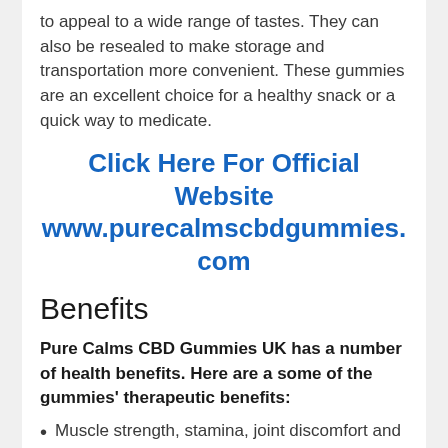to appeal to a wide range of tastes. They can also be resealed to make storage and transportation more convenient. These gummies are an excellent choice for a healthy snack or a quick way to medicate.
Click Here For Official Website www.purecalmscbdgummies.com
Benefits
Pure Calms CBD Gummies UK has a number of health benefits. Here are a some of the gummies' therapeutic benefits:
Muscle strength, stamina, joint discomfort and